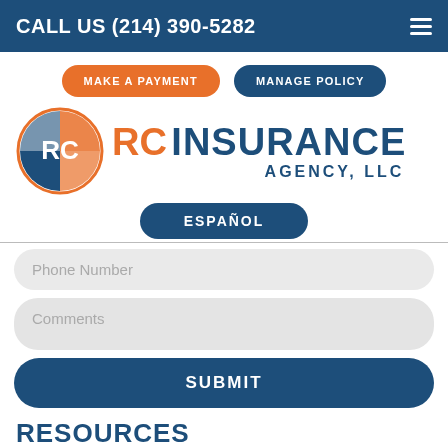CALL US (214) 390-5282
[Figure (screenshot): Navigation buttons: MAKE A PAYMENT (orange) and MANAGE POLICY (navy)]
[Figure (logo): RC Insurance Agency, LLC logo with orange and blue circular RC emblem]
[Figure (screenshot): ESPAÑOL button in navy blue rounded rectangle]
[Figure (screenshot): Phone Number input field (light grey rounded rectangle)]
[Figure (screenshot): Comments input field (light grey rounded rectangle)]
[Figure (screenshot): SUBMIT button in navy blue rounded rectangle]
RESOURCES
Products
Customer Service
Payment Options (partially visible)